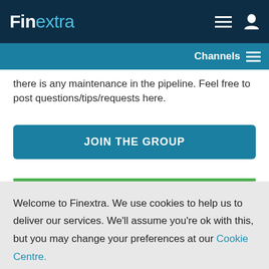Finextra
Channels
there is any maintenance in the pipeline. Feel free to post questions/tips/requests here.
JOIN THE GROUP
Welcome to Finextra. We use cookies to help us to deliver our services. We'll assume you're ok with this, but you may change your preferences at our Cookie Centre. Please read our Privacy Policy.
Accept